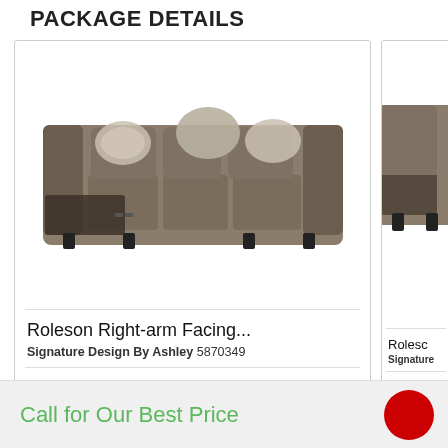PACKAGE DETAILS
[Figure (photo): Roleson sofa with gray faux-leather upholstery and decorative throw pillows]
Roleson Right-arm Facing...
Signature Design By Ashley 5870349
QTY:  1
[Figure (photo): Partial view of a second Roleson piece (arm of sofa/chair)]
Rolesc...
Signature
QTY:  1
Call for Our Best Price